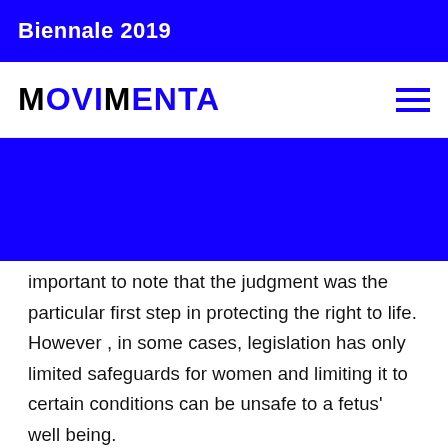Biennale 2019
MOVIMENTA
important to note that the judgment was the particular first step in protecting the right to life. However , in some cases, legislation has only limited safeguards for women and limiting it to certain conditions can be unsafe to a fetus' well being.